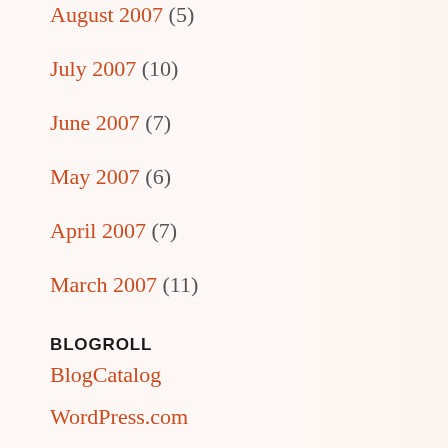August 2007 (5)
July 2007 (10)
June 2007 (7)
May 2007 (6)
April 2007 (7)
March 2007 (11)
BLOGROLL
BlogCatalog
WordPress.com
FOODIES 'ROUND THE WORLD
'Ono Kine Grindz
AromaCookery
Chocolate and Zucchini
Chocolatesuze